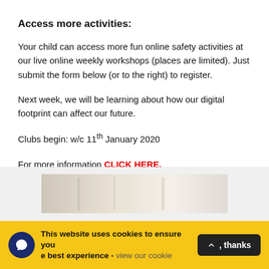Access more activities:
Your child can access more fun online safety activities at our live online weekly workshops (places are limited). Just submit the form below (or to the right) to register.
Next week, we will be learning about how our digital footprint can affect our future.
Clubs begin: w/c 11th January 2020
For more information CLICK HERE.
[Figure (photo): Partial photo of a room interior visible inside a grey box section]
This website uses cookies to ensure you get the best experience - view our cookie